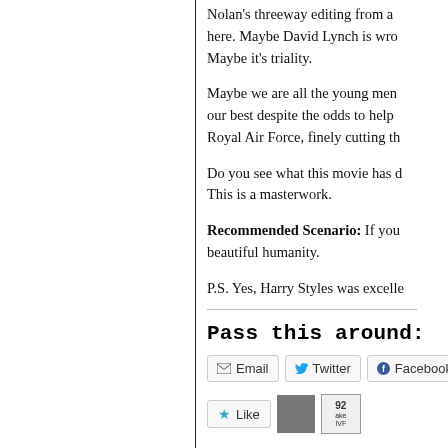Nolan's threeway editing from a here. Maybe David Lynch is wro Maybe it's triality.
Maybe we are all the young men our best despite the odds to help Royal Air Force, finely cutting th
Do you see what this movie has d This is a masterwork.
Recommended Scenario: If you beautiful humanity.
P.S. Yes, Harry Styles was excelle
Pass this around:
[Figure (screenshot): Social sharing buttons: Email, Twitter, Facebook; Like button with star icon; avatar thumbnail and count box]